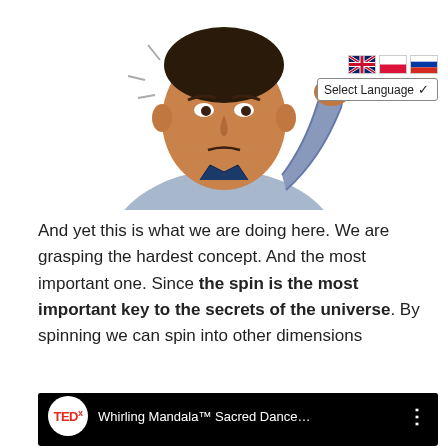[Figure (illustration): Illustration of a man scratching his head in confusion, partially visible at top of page. Language selection UI overlaid with UK, Polish, and Russian flags and a 'Select Language' dropdown.]
And yet this is what we are doing here. We are grasping the hardest concept. And the most important one. Since the spin is the most important key to the secrets of the universe. By spinning we can spin into other dimensions
[Figure (screenshot): Embedded YouTube video: TEDx talk titled 'Whirling Mandala™ Sacred Dance...' showing a woman in a red flowing dress dancing on a purple-lit stage. A play button is visible in the center.]